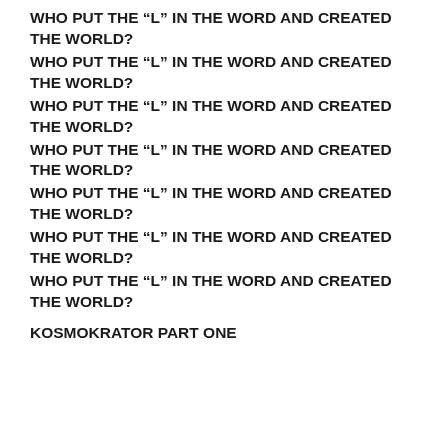WHO PUT THE “L” IN THE WORD AND CREATED THE WORLD?
WHO PUT THE “L” IN THE WORD AND CREATED THE WORLD?
WHO PUT THE “L” IN THE WORD AND CREATED THE WORLD?
WHO PUT THE “L” IN THE WORD AND CREATED THE WORLD?
WHO PUT THE “L” IN THE WORD AND CREATED THE WORLD?
WHO PUT THE “L” IN THE WORD AND CREATED THE WORLD?
WHO PUT THE “L” IN THE WORD AND CREATED THE WORLD?
KOSMOKRATOR PART ONE